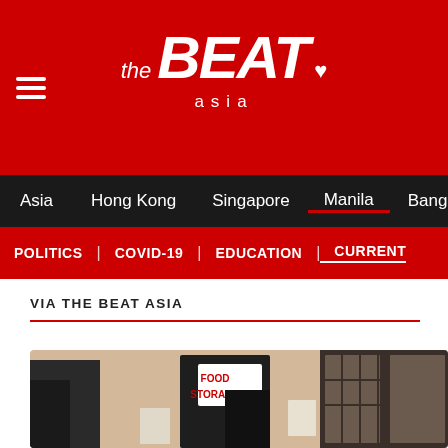the BEAT asia
Asia | Hong Kong | Singapore | Manila | Bang
POLITICS | COVID-19 | EDUCATION | CURRENT
VIA THE BEAT ASIA
[Figure (photo): A building exterior with a 'FOOD STORAGE' sign on a door, showing a person partially visible and windows with grilles]